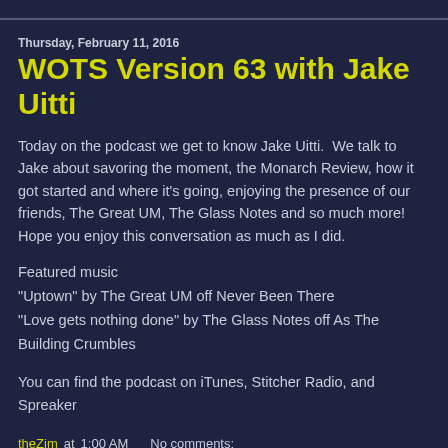Thursday, February 11, 2016
WOTS Version 63 with Jake Uitti
Today on the podcast we get to know Jake Uitti.  We talk to Jake about savoring the moment, the Monarch Review, how it got started and where it's going, enjoying the presence of our friends, The Great UM, The Glass Notes and so much more! Hope you enjoy this conversation as much as I did.
Featured music
"Uptown" by The Great UM off Never Been There
"Love gets nothing done" by The Glass Notes off As The Building Crumbles
You can find the podcast on iTunes, Stitcher Radio, and Spreaker
theZim at 1:00 AM   No comments: